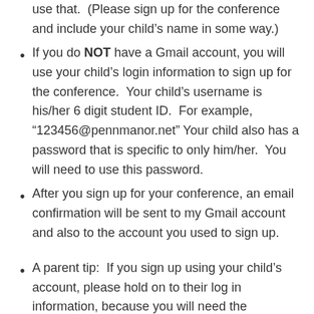use that.  (Please sign up for the conference and include your child’s name in some way.)
If you do NOT have a Gmail account, you will use your child’s login information to sign up for the conference.  Your child’s username is his/her 6 digit student ID.  For example, “123456@pennmanor.net” Your child also has a password that is specific to only him/her.  You will need to use this password.
After you sign up for your conference, an email confirmation will be sent to my Gmail account and also to the account you used to sign up.
A parent tip:  If you sign up using your child’s account, please hold on to their log in information, because you will need the date/time of the conference to log back in for the google